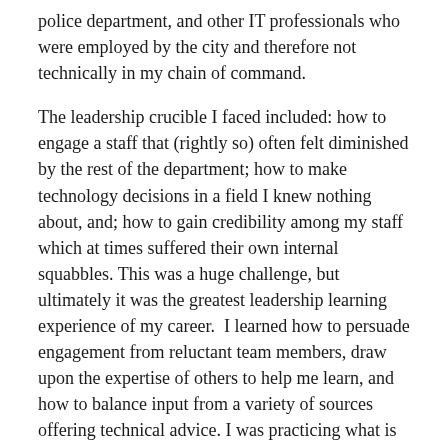police department, and other IT professionals who were employed by the city and therefore not technically in my chain of command.
The leadership crucible I faced included: how to engage a staff that (rightly so) often felt diminished by the rest of the department; how to make technology decisions in a field I knew nothing about, and; how to gain credibility among my staff which at times suffered their own internal squabbles. This was a huge challenge, but ultimately it was the greatest leadership learning experience of my career.  I learned how to persuade engagement from reluctant team members, draw upon the expertise of others to help me learn, and how to balance input from a variety of sources offering technical advice. I was practicing what is known as adaptive leadership, though I didn't recognize it at the time.
The common thread among these diverse experiences is that I recognized the opportunity before me and that I made the